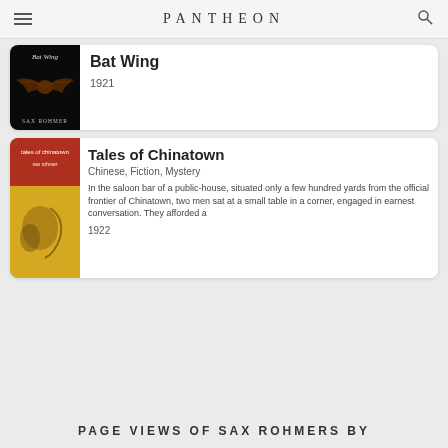PANTHEON
[Figure (illustration): Book card for Bat Wing by Sax Rohmer. Shows a dark book cover with a bat illustration and 'Bat Wing / Sax Rohmer' text.]
Bat Wing
1921
[Figure (illustration): Book card for Tales of Chinatown by Sax Rohmer. Shows a red and yellow abstract book cover with 'tales of chinatown / sax rohmer' text.]
Tales of Chinatown
Chinese, Fiction, Mystery
In the saloon bar of a public-house, situated only a few hundred yards from the official frontier of Chinatown, two men sat at a small table in a corner, engaged in earnest conversation. They afforded a
1922
PAGE VIEWS OF SAX ROHMERS BY